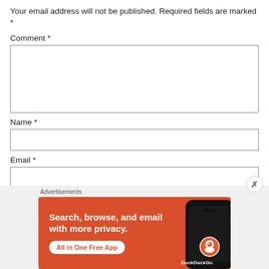Your email address will not be published. Required fields are marked *
Comment *
[Figure (screenshot): Empty comment textarea input box]
Name *
[Figure (screenshot): Empty name text input box]
Email *
[Figure (screenshot): Empty email text input box]
Advertisements
[Figure (illustration): DuckDuckGo advertisement banner: orange background with text 'Search, browse, and email with more privacy. All in One Free App' and an image of a smartphone with DuckDuckGo logo]